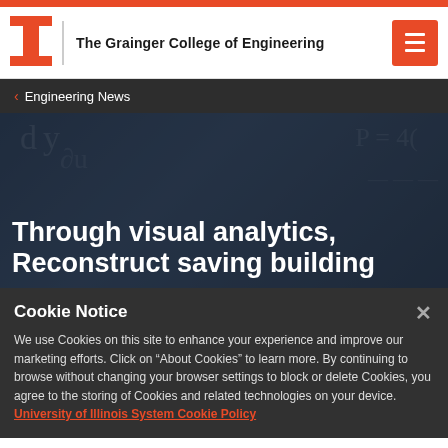[Figure (logo): University of Illinois block-I logo in orange]
The Grainger College of Engineering
< Engineering News
Through visual analytics, Reconstruct saving building
Cookie Notice
We use Cookies on this site to enhance your experience and improve our marketing efforts. Click on "About Cookies" to learn more. By continuing to browse without changing your browser settings to block or delete Cookies, you agree to the storing of Cookies and related technologies on your device.  University of Illinois System Cookie Policy